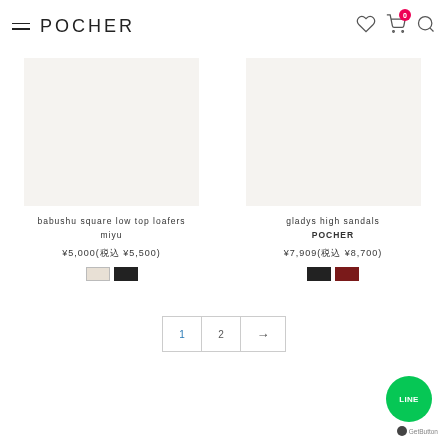POCHER
babushu square low top loafers
miyu
¥5,000(税込 ¥5,500)
gladys high sandals
POCHER
¥7,909(税込 ¥8,700)
1 2 →